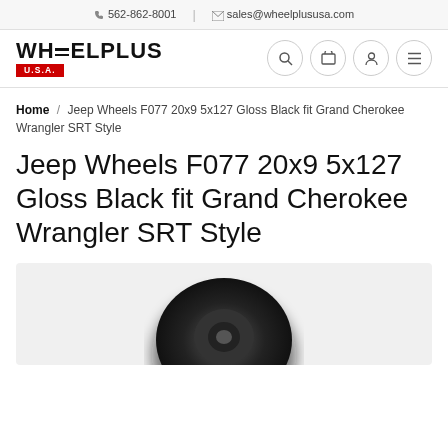562-862-8001 | sales@wheelplususa.com
[Figure (logo): WHEELPLUS U.S.A. logo with red U.S.A. badge]
Home / Jeep Wheels F077 20x9 5x127 Gloss Black fit Grand Cherokee Wrangler SRT Style
Jeep Wheels F077 20x9 5x127 Gloss Black fit Grand Cherokee Wrangler SRT Style
[Figure (photo): Black gloss wheel (partial view from below)]